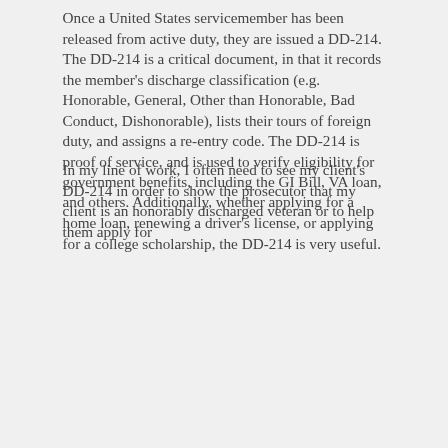Once a United States servicemember has been released from active duty, they are issued a DD-214. The DD-214 is a critical document, in that it records the member's discharge classification (e.g. Honorable, General, Other than Honorable, Bad Conduct, Dishonorable), lists their tours of foreign duty, and assigns a re-entry code. The DD-214 is proof of service, and is used to verify eligibility for government benefits, including the GI Bill, VA loan, and others. Additionally, whether applying for a home loan, renewing a driver's license, or applying for a college scholarship, the DD-214 is very useful.
In my line of work, I often need to see my client's DD-214 in order to show the prosecutor that my client is an honorably discharged veteran or to help them apply for